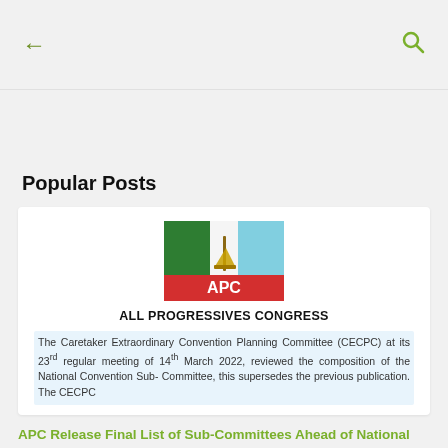← [back] [search]
Popular Posts
[Figure (logo): APC (All Progressives Congress) logo — Nigerian political party logo with green, white, and light-blue vertical stripes and a broom, with red banner reading APC]
ALL PROGRESSIVES CONGRESS
The Caretaker Extraordinary Convention Planning Committee (CECPC) at its 23rd regular meeting of 14th March 2022, reviewed the composition of the National Convention Sub- Committee, this supersedes the previous publication. The CECPC
APC Release Final List of Sub-Committees Ahead of National Convention...